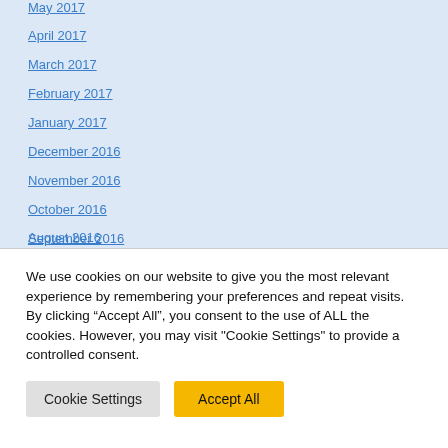May 2017
April 2017
March 2017
February 2017
January 2017
December 2016
November 2016
October 2016
September 2016
August 2016
We use cookies on our website to give you the most relevant experience by remembering your preferences and repeat visits. By clicking “Accept All”, you consent to the use of ALL the cookies. However, you may visit "Cookie Settings" to provide a controlled consent.